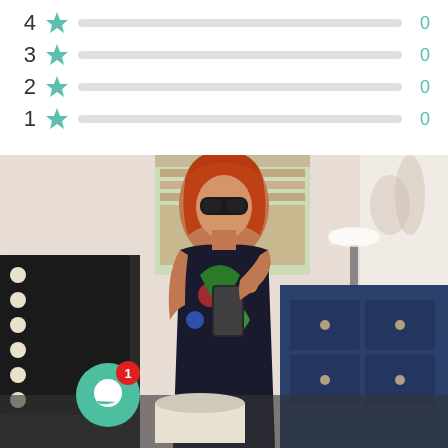[Figure (infographic): Star rating breakdown rows for 4, 3, 2, 1 stars each showing a progress bar and count of 0]
[Figure (photo): Person with red hair and sunglasses wearing a colorful tropical print dress taking a mirror selfie in a bedroom, with a chat notification bubble overlay showing badge count 1]